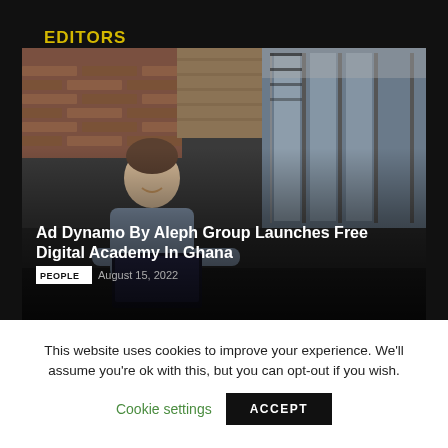EDITORS PICK
[Figure (photo): A man in a light blue shirt smiling and leaning over a laptop in a modern office space with large glass windows and brick walls. Overlaid text reads: 'Ad Dynamo By Aleph Group Launches Free Digital Academy In Ghana' with a 'PEOPLE' tag and date 'August 15, 2022'.]
This website uses cookies to improve your experience. We'll assume you're ok with this, but you can opt-out if you wish.
Cookie settings
ACCEPT